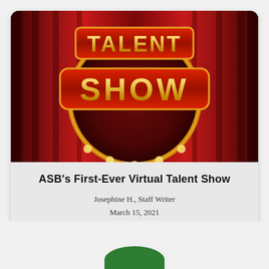[Figure (illustration): Talent Show logo/graphic with red curtain background, marquee ring with gold bulbs, and bold gold text reading TALENT SHOW on red banners]
ASB's First-Ever Virtual Talent Show
Josephine H., Staff Writer
March 15, 2021
[Figure (illustration): Partial green rounded shape visible at bottom of page, likely a stage or button element]